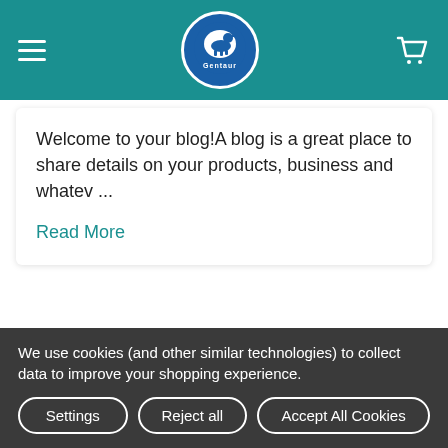Gentaur navigation header with hamburger menu and cart icon
Welcome to your blog!A blog is a great place to share details on your products, business and whatev ...
Read More
Subscribe To Our Newsletter
We use cookies (and other similar technologies) to collect data to improve your shopping experience.
Settings | Reject all | Accept All Cookies